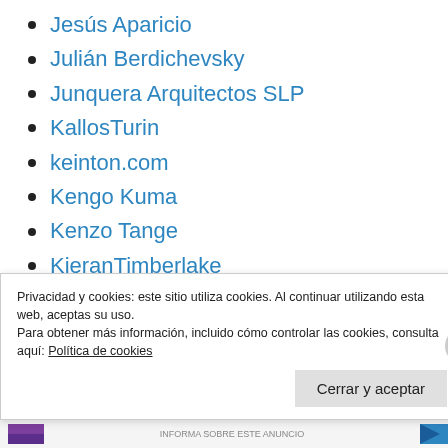Jesús Aparicio
Julián Berdichevsky
Junquera Arquitectos SLP
KallosTurin
keinton.com
Kengo Kuma
Kenzo Tange
KieranTimberlake
Kisho Kurokawa
La Forma Moderna en Latinoamérica
Privacidad y cookies: este sitio utiliza cookies. Al continuar utilizando esta web, aceptas su uso.
Para obtener más información, incluido cómo controlar las cookies, consulta aquí: Política de cookies
Cerrar y aceptar